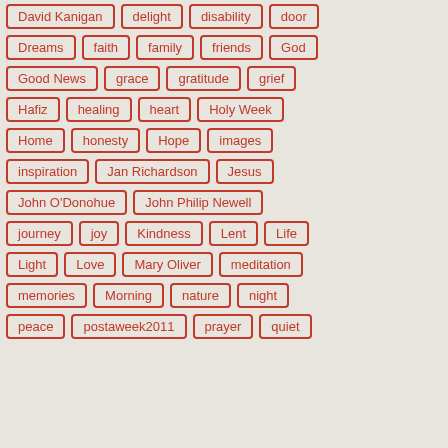David Kanigan
delight
disability
door
Dreams
faith
family
friends
God
Good News
grace
gratitude
grief
Hafiz
healing
heart
Holy Week
Home
honesty
Hope
images
inspiration
Jan Richardson
Jesus
John O'Donohue
John Philip Newell
journey
joy
Kindness
Lent
Life
Light
Love
Mary Oliver
meditation
memories
Morning
nature
night
peace
postaweek2011
prayer
quiet